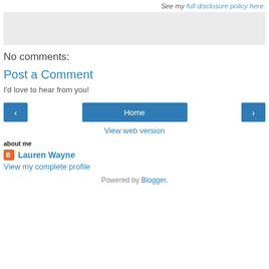See my full disclosure policy here.
[Figure (other): Gray placeholder banner/ad box]
No comments:
Post a Comment
I'd love to hear from you!
< Home >
View web version
about me
Lauren Wayne
View my complete profile
Powered by Blogger.